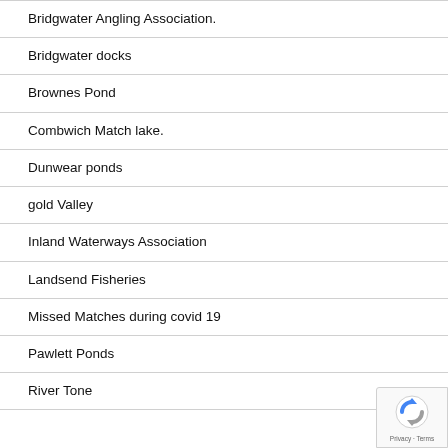Bridgwater Angling Association.
Bridgwater docks
Brownes Pond
Combwich Match lake.
Dunwear ponds
gold Valley
Inland Waterways Association
Landsend Fisheries
Missed Matches during covid 19
Pawlett Ponds
River Tone
[Figure (logo): reCAPTCHA privacy badge with Google logo icon and Privacy · Terms text]